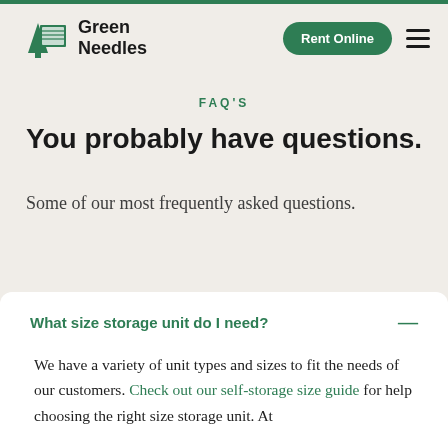[Figure (logo): Green Needles self-storage company logo with a pine tree and storage unit icon, green color, with brand name 'Green Needles' in bold black text]
FAQ'S
You probably have questions.
Some of our most frequently asked questions.
What size storage unit do I need?
We have a variety of unit types and sizes to fit the needs of our customers. Check out our self-storage size guide for help choosing the right size storage unit. At